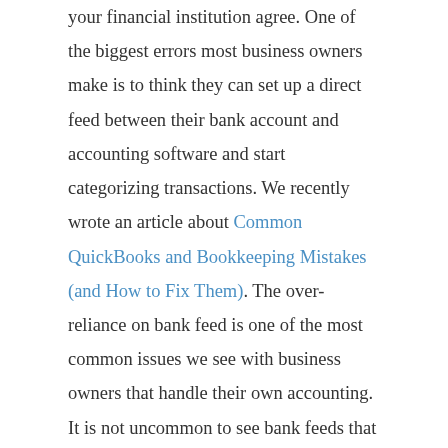your financial institution agree. One of the biggest errors most business owners make is to think they can set up a direct feed between their bank account and accounting software and start categorizing transactions. We recently wrote an article about Common QuickBooks and Bookkeeping Mistakes (and How to Fix Them). The over-reliance on bank feed is one of the most common issues we see with business owners that handle their own accounting. It is not uncommon to see bank feeds that import duplicate transaction. Without making sure that all transactions imported are accurate, you will end up with discrepancies between the balances in your